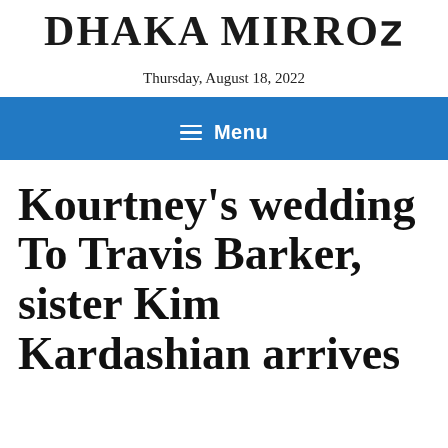DHAKA MIRROR
Thursday, August 18, 2022
≡ Menu
Kourtney's wedding To Travis Barker, sister Kim Kardashian arrives